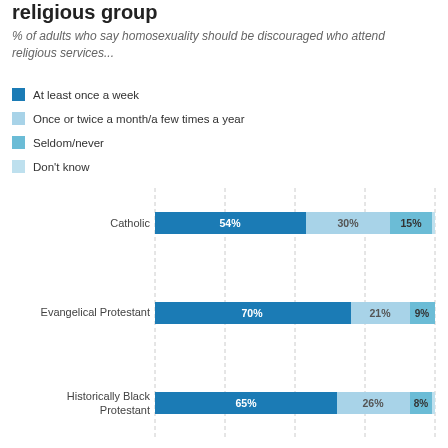religious group
% of adults who say homosexuality should be discouraged who attend religious services...
At least once a week
Once or twice a month/a few times a year
Seldom/never
Don't know
[Figure (grouped-bar-chart): % by religious group]